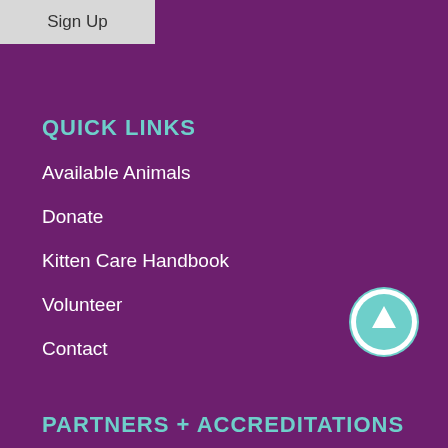[Figure (other): Sign Up button — light grey rectangular button with dark text]
QUICK LINKS
Available Animals
Donate
Kitten Care Handbook
Volunteer
Contact
[Figure (other): Circular teal scroll-to-top button with upward arrow]
PARTNERS + ACCREDITATIONS